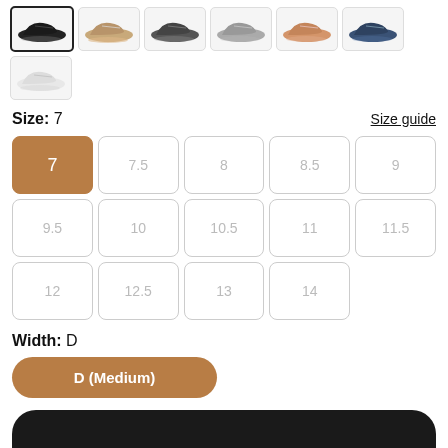[Figure (photo): Row of 6 shoe thumbnail images in various colors: black, tan/beige, dark gray, gray, tan/orange, navy blue]
[Figure (photo): Single white shoe thumbnail in second row]
Size: 7
Size guide
7 7.5 8 8.5 9 9.5 10 10.5 11 11.5 12 12.5 13 14
Width: D
D (Medium)